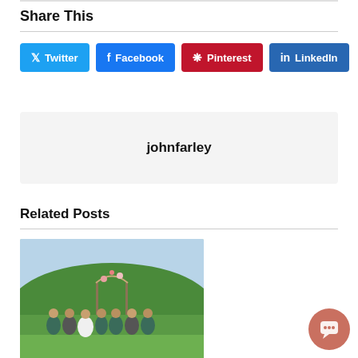Share This
Twitter | Facebook | Pinterest | LinkedIn
johnfarley
Related Posts
[Figure (photo): Wedding group photo outdoors with bridesmaids in teal dresses, bride in white, and other guests, with green trees and hills in background]